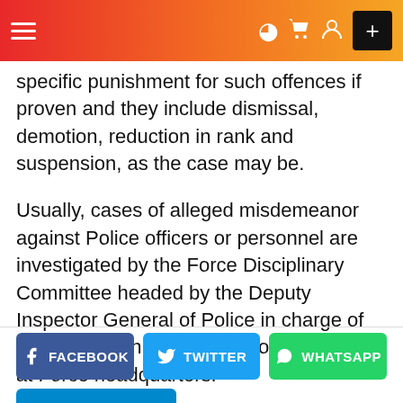Navigation bar with hamburger menu, icons, and plus button
specific punishment for such offences if proven and they include dismissal, demotion, reduction in rank and suspension, as the case may be.
Usually, cases of alleged misdemeanor against Police officers or personnel are investigated by the Force Disciplinary Committee headed by the Deputy Inspector General of Police in charge of Administration who is the most senior DIG at Force headquarters.
FACEBOOK
TWITTER
WHATSAPP
TELEGRAM